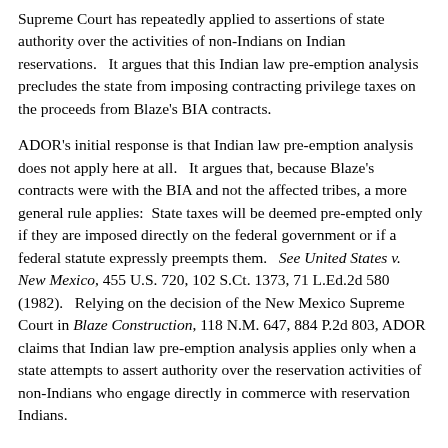Supreme Court has repeatedly applied to assertions of state authority over the activities of non-Indians on Indian reservations.   It argues that this Indian law pre-emption analysis precludes the state from imposing contracting privilege taxes on the proceeds from Blaze's BIA contracts.
ADOR's initial response is that Indian law pre-emption analysis does not apply here at all.   It argues that, because Blaze's contracts were with the BIA and not the affected tribes, a more general rule applies:  State taxes will be deemed pre-empted only if they are imposed directly on the federal government or if a federal statute expressly preempts them.   See United States v. New Mexico, 455 U.S. 720, 102 S.Ct. 1373, 71 L.Ed.2d 580 (1982).   Relying on the decision of the New Mexico Supreme Court in Blaze Construction, 118 N.M. 647, 884 P.2d 803, ADOR claims that Indian law pre-emption analysis applies only when a state attempts to assert authority over the reservation activities of non-Indians who engage directly in commerce with reservation Indians.